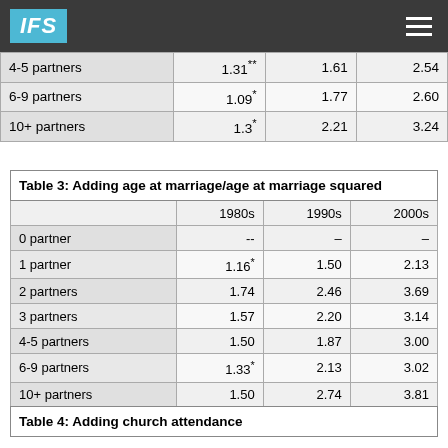IFS
|  | 1980s | 1990s | 2000s |
| --- | --- | --- | --- |
| 4-5 partners | 1.31** | 1.61 | 2.54 |
| 6-9 partners | 1.09* | 1.77 | 2.60 |
| 10+ partners | 1.3* | 2.21 | 3.24 |
| Table 3: Adding age at marriage/age at marriage squared |  |  |  |
| --- | --- | --- | --- |
|  | 1980s | 1990s | 2000s |
| 0 partner | -- | – | – |
| 1 partner | 1.16* | 1.50 | 2.13 |
| 2 partners | 1.74 | 2.46 | 3.69 |
| 3 partners | 1.57 | 2.20 | 3.14 |
| 4-5 partners | 1.50 | 1.87 | 3.00 |
| 6-9 partners | 1.33* | 2.13 | 3.02 |
| 10+ partners | 1.50 | 2.74 | 3.81 |
| Table 4: Adding church attendance |  |  |  |
| --- | --- | --- | --- |